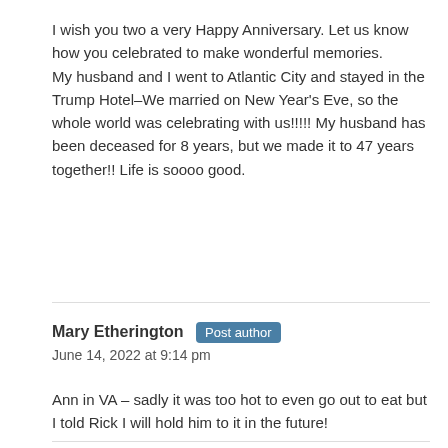I wish you two a very Happy Anniversary. Let us know how you celebrated to make wonderful memories.
My husband and I went to Atlantic City and stayed in the Trump Hotel–We married on New Year's Eve, so the whole world was celebrating with us!!!!! My husband has been deceased for 8 years, but we made it to 47 years together!! Life is soooo good.
Mary Etherington Post author
June 14, 2022 at 9:14 pm
Ann in VA – sadly it was too hot to even go out to eat but I told Rick I will hold him to it in the future!